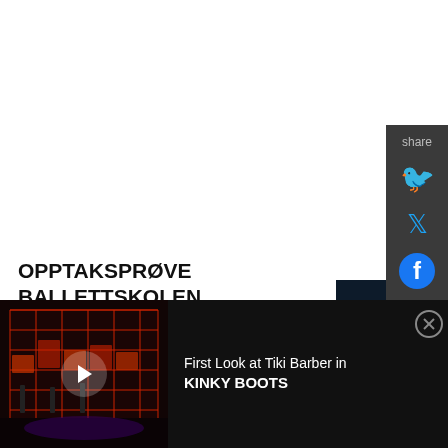[Figure (other): Dark theater share sidebar with Twitter and Facebook icons]
OPPTAKSPRØVE BALLETTSKOLEN Comes to Den Norske Opera
August 22, 2022
[Figure (photo): Ballet dancers performing on a dark stage, one dancer in a red vest with leg raised]
Har du lust til at barnet ditt skal bli trent av landets fremste
[Figure (screenshot): Video banner ad: First Look at Tiki Barber in KINKY BOOTS, showing a stage set with red neon-style grid backdrop]